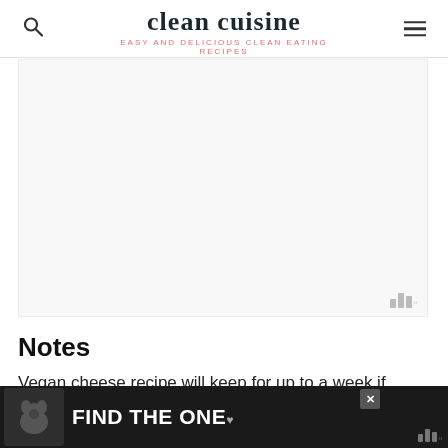clean cuisine — EASY AND DELICIOUS CLEAN EATING RECIPES
[Figure (other): Advertisement placeholder area, light gray background]
Notes
Vegan cheese recipe will keep for up to a week if stored in covered container and refrigerated.
[Figure (other): Bottom advertisement banner with dark background showing a dog and text 'FIND THE ONE']